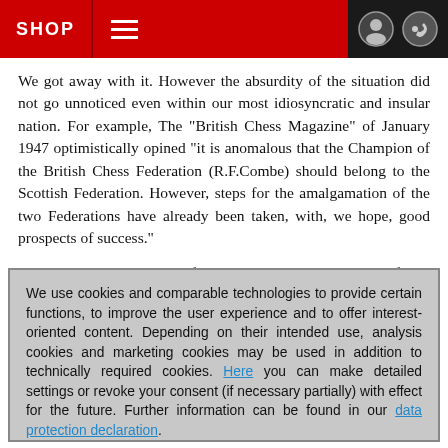SHOP
We got away with it. However the absurdity of the situation did not go unnoticed even within our most idiosyncratic and insular nation. For example, The "British Chess Magazine" of January 1947 optimistically opined "it is anomalous that the Champion of the British Chess Federation (R.F.Combe) should belong to the Scottish Federation. However, steps for the amalgamation of the two Federations have already been taken, with, we hope, good prospects of success."
It didn't happen. Twenty four years later, in 1971, Wolfgang Heidenfeld readdressed the issue in the B.C.M., on the subject of Olympiads. "FIDE was founded as an association of chess...
We use cookies and comparable technologies to provide certain functions, to improve the user experience and to offer interest-oriented content. Depending on their intended use, analysis cookies and marketing cookies may be used in addition to technically required cookies. Here you can make detailed settings or revoke your consent (if necessary partially) with effect for the future. Further information can be found in our data protection declaration.